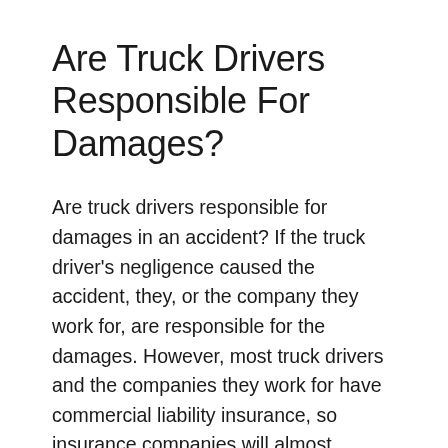Are Truck Drivers Responsible For Damages?
Are truck drivers responsible for damages in an accident? If the truck driver's negligence caused the accident, they, or the company they work for, are responsible for the damages. However, most truck drivers and the companies they work for have commercial liability insurance, so insurance companies will almost always be the entity that actually pays for damages. As a result, insurance companies will do what they can to shift financial responsibility. They are quite adept at what